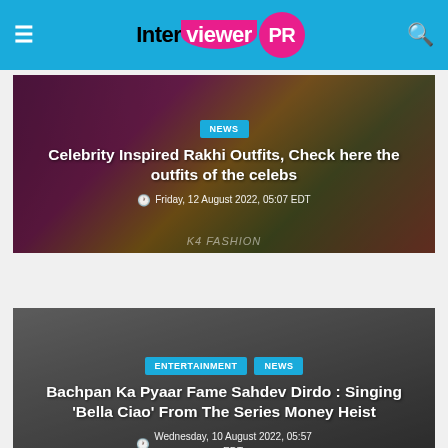Interviewer PR
[Figure (photo): Article card with fashion outfits - celebrity inspired Rakhi outfits]
Celebrity Inspired Rakhi Outfits, Check here the outfits of the celebs
Friday, 12 August 2022, 05:07 EDT
[Figure (photo): Article card with a young man - Bachpan Ka Pyaar Fame Sahdev Dirdo story]
Bachpan Ka Pyaar Fame Sahdev Dirdo : Singing 'Bella Ciao' From The Series Money Heist
Wednesday, 10 August 2022, 05:57 EDT